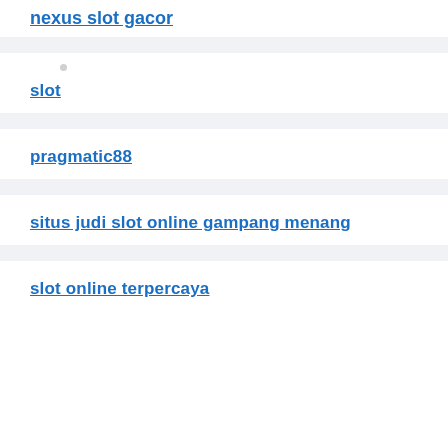nexus slot gacor
slot
pragmatic88
situs judi slot online gampang menang
slot online terpercaya